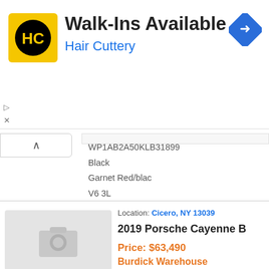[Figure (logo): Hair Cuttery logo - yellow square with HC letters in black circle]
Walk-Ins Available
Hair Cuttery
WP1AB2A50KLB31899
Black
Garnet Red/blac
V6 3L
7-Speed Porsche Dopp
Fuel: Gasoline
View Details »
Location: Cicero, NY 13039
2019 Porsche Cayenne B
Price: $63,490
Burdick Warehouse
View details about this vehicle
[Figure (photo): Placeholder car photo icon (grey camera icon)]